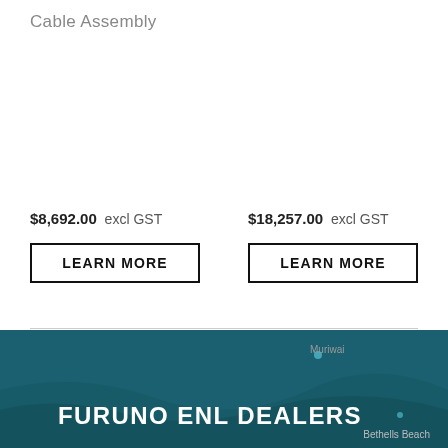Cable Assembly
$8,692.00  excl GST
$18,257.00  excl GST
LEARN MORE
LEARN MORE
Muriwai
FURUNO ENL DEALERS
Bethells Beach